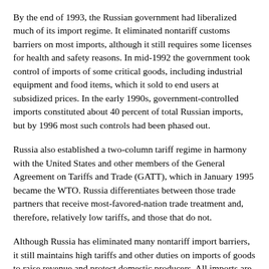By the end of 1993, the Russian government had liberalized much of its import regime. It eliminated nontariff customs barriers on most imports, although it still requires some licenses for health and safety reasons. In mid-1992 the government took control of imports of some critical goods, including industrial equipment and food items, which it sold to end users at subsidized prices. In the early 1990s, government-controlled imports constituted about 40 percent of total Russian imports, but by 1996 most such controls had been phased out.
Russia also established a two-column tariff regime in harmony with the United States and other members of the General Agreement on Tariffs and Trade (GATT), which in January 1995 became the WTO. Russia differentiates between those trade partners that receive most-favored-nation trade treatment and, therefore, relatively low tariffs, and those that do not.
Although Russia has eliminated many nontariff import barriers, it still maintains high tariffs and other duties on imports of goods to raise revenue and protect domestic producers. All imports are subject to a 3 percent special tax in addition to import tariffs that vary with the category of goods. Some of the high tariffs include those of 40 to 50 percent on automobiles and aircraft and 100 percent on alcoholic beverages. Excise taxes ranging between 35 and 250 percent are applied to certain luxury goods that include